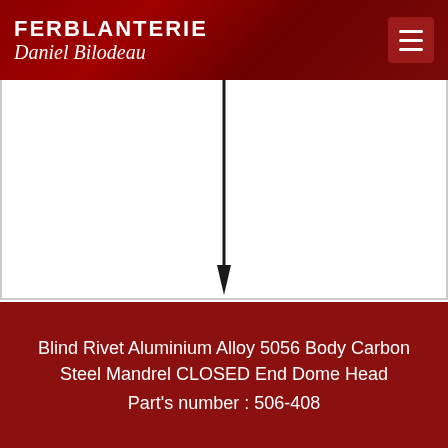FERBLANTERIE Daniel Bilodeau
[Figure (photo): Product photo of a blind rivet with a thin black mandrel/pin against a white background]
Blind Rivet Aluminium Alloy 5056 Body Carbon Steel Mandrel CLOSED End Dome Head
Part's number : 506-408